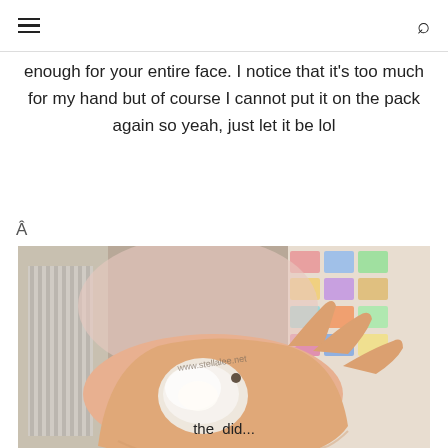≡  🔍
enough for your entire face. I notice that it's too much for my hand but of course I cannot put it on the pack again so yeah, just let it be lol
Â
[Figure (photo): A hand with a white cream/product swatch applied to the back of the hand, with a watermark reading 'www.stellalee.net'. Background shows a colorful patterned surface and what appears to be a radiator.]
the did...